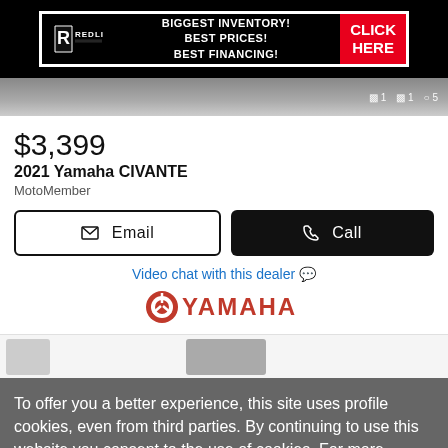[Figure (advertisement): Redline dealer ad banner: black background, white border, Redline logo on left, text 'BIGGEST INVENTORY! BEST PRICES! BEST FINANCING!' in center, red 'CLICK HERE' button on right]
[Figure (photo): Partial motorcycle image strip with image count icons showing 1, 1, 5]
$3,399
2021 Yamaha CIVANTE
MotoMember
Email
Call
Video chat with this dealer 💬
[Figure (logo): Yamaha logo in red with tuning fork emblem]
[Figure (photo): Partial product thumbnail images at bottom of listing]
To offer you a better experience, this site uses profile cookies, even from third parties. By continuing to use this website you consent to the use of cookies. For more information or to select your preferences consult our Privacy Policy